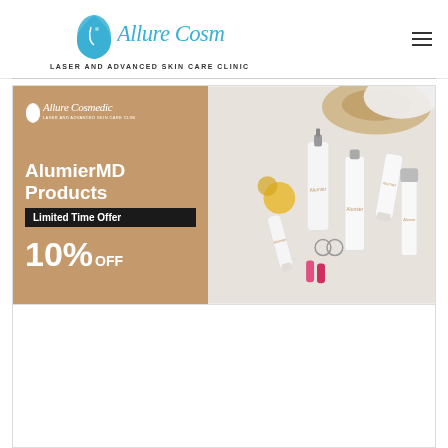[Figure (logo): Allure Cosmedic logo with face silhouette and cursive text, tagline: LASER AND ADVANCED SKIN CARE CLINIC]
[Figure (infographic): AlumierMD Products promotional banner. Left golden-brown panel with Allure Cosmedic mini logo, bold white text: AlumierMD Products, black banner: Limited Time Offer, large white text: 10% OFF. Right panel shows photo of white skincare product bottles and tubes on light background with straw hat and flowers.]